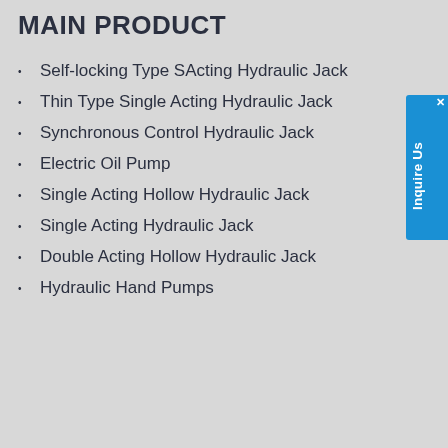MAIN PRODUCT
Self-locking Type SActing Hydraulic Jack
Thin Type Single Acting Hydraulic Jack
Synchronous Control Hydraulic Jack
Electric Oil Pump
Single Acting Hollow Hydraulic Jack
Single Acting Hydraulic Jack
Double Acting Hollow Hydraulic Jack
Hydraulic Hand Pumps